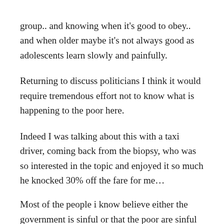group.. and knowing when it's good to obey.. and when older maybe it's not always good as adolescents learn slowly and painfully.

Returning to discuss politicians I think it would require tremendous effort not to know what is happening to the poor here.
Indeed I was talking about this with a taxi driver, coming back from the biopsy, who was so interested in the topic and enjoyed it so much he knocked 30% off the fare for me…
Most of the people i know believe either the government is sinful or that the poor are sinful and deserve this punishing regime….
But what if they do not realise? How can Ian Duncan Smith go to Mass receive Communion